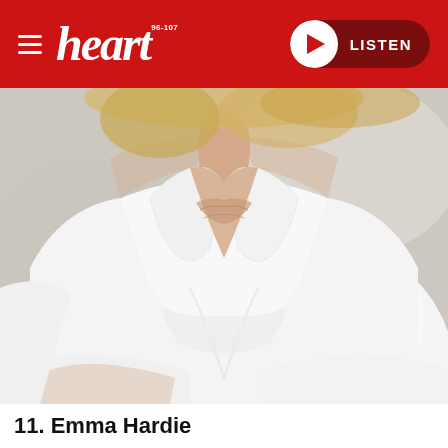heart 96-107 | LISTEN
[Figure (photo): Close-up photo of a woman with blonde hair wearing a white shirt with a ruffled V-neckline, arms crossed, against a light background]
11. Emma Hardie